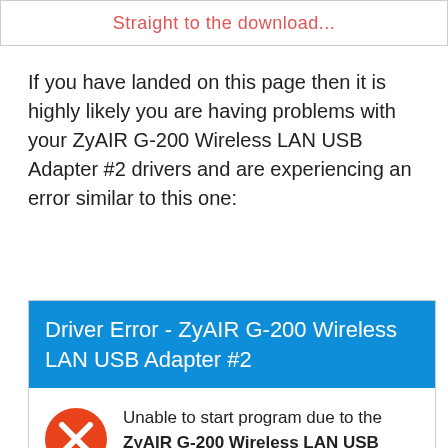Straight to the download...
If you have landed on this page then it is highly likely you are having problems with your ZyAIR G-200 Wireless LAN USB Adapter #2 drivers and are experiencing an error similar to this one:
[Figure (screenshot): Driver error dialog screenshot showing a blue header with text 'Driver Error - ZyAIR G-200 Wireless LAN USB Adapter #2' and a white body with a red X icon and message: 'Unable to start program due to the ZyAIR G-200 Wireless LAN USB Adapter #2 driver being missing from your computer. Try reinstalling the']